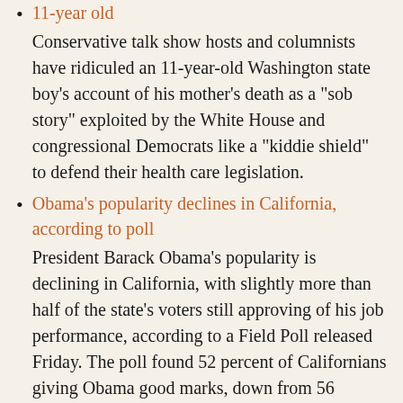11-year old
Conservative talk show hosts and columnists have ridiculed an 11-year-old Washington state boy's account of his mother's death as a "sob story" exploited by the White House and congressional Democrats like a "kiddie shield" to defend their health care legislation.
Obama's popularity declines in California, according to poll
President Barack Obama's popularity is declining in California, with slightly more than half of the state's voters still approving of his job performance, according to a Field Poll released Friday. The poll found 52 percent of Californians giving Obama good marks, down from 56 percent in January and 65 percent a year ago. At the same time, Californians gave a resounding thumbs-down to Congress, with only 12 percent of the state's voters approving of its performance. That's the lowest assessment since Field began tracking Congress two decades ago.